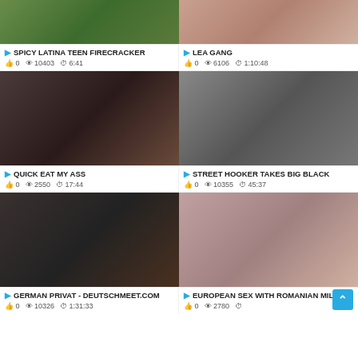[Figure (screenshot): Top partial thumbnail left - Spicy Latina Teen Firecracker]
[Figure (screenshot): Top partial thumbnail right - Lea Gang]
SPICY LATINA TEEN FIRECRACKER | 0 views 10403 | 6:41
LEA GANG | 0 views 6106 | 1:10:48
[Figure (screenshot): Thumbnail - Quick Eat My Ass]
[Figure (screenshot): Thumbnail - Street Hooker Takes Big Black]
QUICK EAT MY ASS | 0 views 2550 | 17:44
STREET HOOKER TAKES BIG BLACK | 0 views 10355 | 45:37
[Figure (screenshot): Thumbnail - German Privat - Deutschmeet.com]
[Figure (screenshot): Thumbnail - European Sex With Romanian Milf]
GERMAN PRIVAT - DEUTSCHMEET.COM | 0 views 10326 | 1:31:33
EUROPEAN SEX WITH ROMANIAN MILF | 0 views 2780